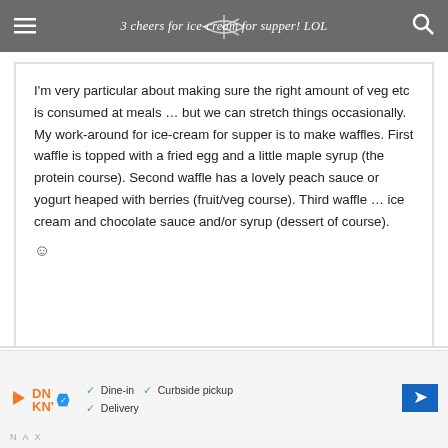3 cheers for ice-cream for supper! LOL
I'm very particular about making sure the right amount of veg etc is consumed at meals … but we can stretch things occasionally. My work-around for ice-cream for supper is to make waffles. First waffle is topped with a fried egg and a little maple syrup (the protein course). Second waffle has a lovely peach sauce or yogurt heaped with berries (fruit/veg course). Third waffle … ice cream and chocolate sauce and/or syrup (dessert of course). ☺
[Figure (other): Advertisement banner for Dunkin Donuts showing Dine-in, Curbside pickup, Delivery options with a navigation/directions icon]